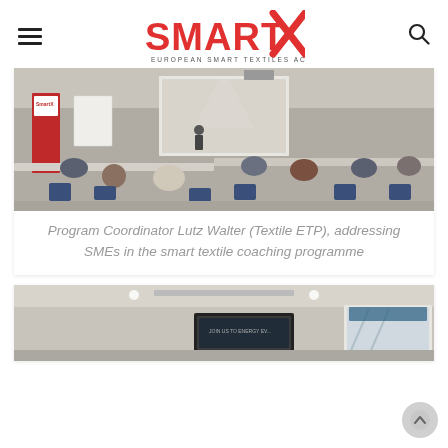[Figure (logo): SmartX - European Smart Textiles Accelerator logo with red X mark]
[Figure (photo): Program Coordinator Lutz Walter (Textile ETP) addressing SMEs in a conference/classroom setting with SmartX banner visible]
Program Coordinator Lutz Walter (Textile ETP), addressing SMEs in the smart textile coaching programme
[Figure (photo): A room with a large screen/TV display and presentation screen showing content, second coaching session photo]